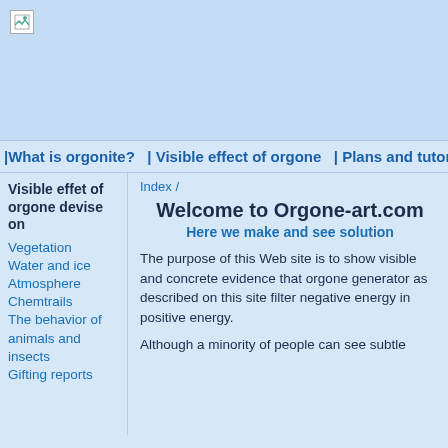[Figure (other): Header banner area with light blue background and broken image icon in top-left corner]
|What is orgonite?  | Visible effect of orgone  | Plans and tutorials
Visible effet of orgone devise on
Vegetation
Water and ice
Atmosphere
Chemtrails
The behavior of animals and insects
Gifting reports
Index /
Welcome to Orgone-art.com
Here we make and see solution
The purpose of this Web site is to show visible and concrete evidence that orgone generator as described on this site filter negative energy in positive energy.
Although a minority of people can see subtle